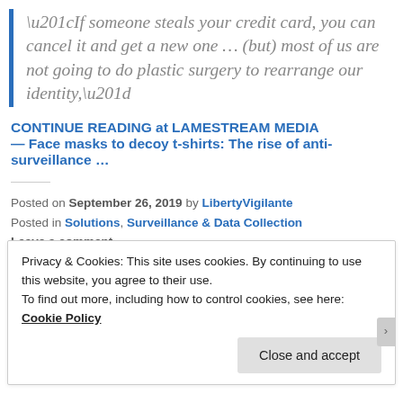“If someone steals your credit card, you can cancel it and get a new one … (but) most of us are not going to do plastic surgery to rearrange our identity,”
CONTINUE READING at LAMESTREAM MEDIA — Face masks to decoy t-shirts: The rise of anti-surveillance …
Posted on September 26, 2019 by LibertyVigilante
Posted in Solutions, Surveillance & Data Collection
Leave a comment
Privacy & Cookies: This site uses cookies. By continuing to use this website, you agree to their use.
To find out more, including how to control cookies, see here: Cookie Policy
Close and accept